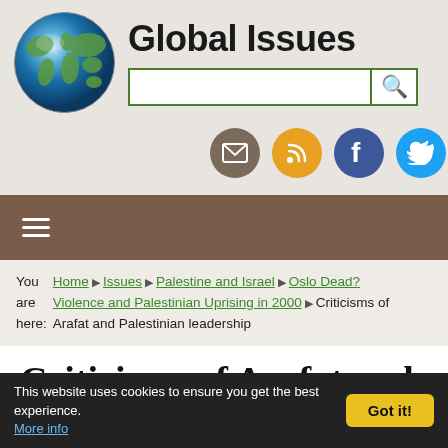Global Issues
[Figure (logo): Globe icon for Global Issues website]
You are here: Home ▶ Issues ▶ Palestine and Israel ▶ Oslo Dead? Violence and Palestinian Uprising in 2000 ▶ Criticisms of Arafat and Palestinian leadership
Criticisms of Arafat and Palestinian leadership
by Anup Shah
This website uses cookies to ensure you get the best experience. More info